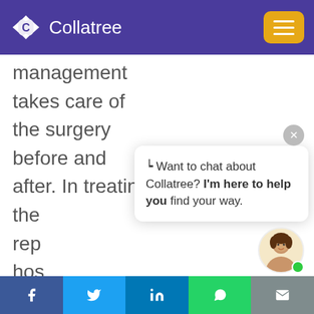Collatree
management takes care of the surgery before and after. In treating the… rep… hos…
[Figure (other): Chat popup bubble with close button. Text: '⎕ Want to chat about Collatree? I'm here to help you find your way.']
typically follow a holistic
Social share bar: Facebook, Twitter, LinkedIn, WhatsApp, Email